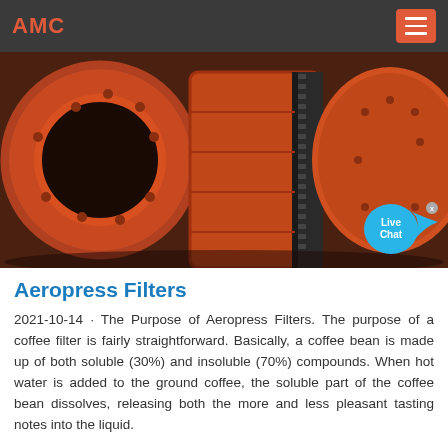AMC
[Figure (photo): Industrial orange-painted cylindrical grinding mill equipment with circular openings and bolted flanges, with a Live Chat bubble overlay in the bottom right corner.]
Aeropress Filters
2021-10-14 · The Purpose of Aeropress Filters. The purpose of a coffee filter is fairly straightforward. Basically, a coffee bean is made up of both soluble (30%) and insoluble (70%) compounds. When hot water is added to the ground coffee, the soluble part of the coffee bean dissolves, releasing both the more and less pleasant tasting notes into the liquid.